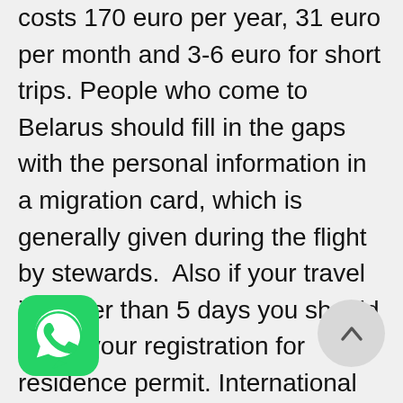costs 170 euro per year, 31 euro per month and 3-6 euro for short trips. People who come to Belarus should fill in the gaps with the personal information in a migration card, which is generally given during the flight by stewards.  Also if your travel is longer than 5 days you should made your registration for residence permit. International Organization for Migration does not work on Sunday and Monday so these days are not included in 5 days. If you stay in hotel than the administration will take care of these issues for their customers themselves. That is why students and travelers should pay great attention to the migration card which is given during the flight otherwise you will have to face several difficulties